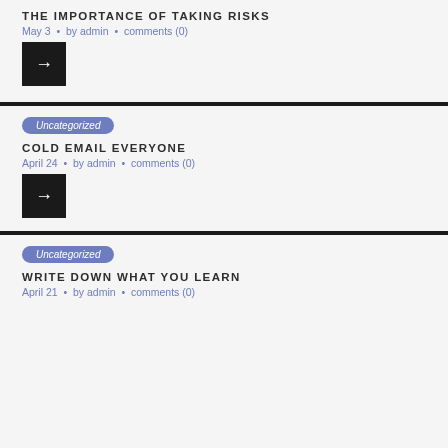THE IMPORTANCE OF TAKING RISKS
May 3 · by admin · comments (0)
[Figure (other): Black square button with white right arrow]
Uncategorized
COLD EMAIL EVERYONE
April 24 · by admin · comments (0)
[Figure (other): Black square button with white right arrow]
Uncategorized
WRITE DOWN WHAT YOU LEARN
April 21 · by admin · comments (0)